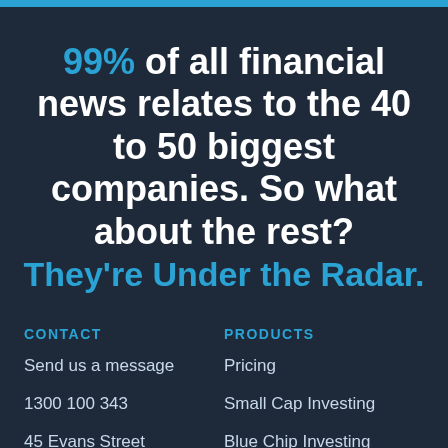99% of all financial news relates to the 40 to 50 biggest companies. So what about the rest? They're Under the Radar.
CONTACT
Send us a message
1300 100 343
45 Evans Street
PRODUCTS
Pricing
Small Cap Investing
Blue Chip Investing